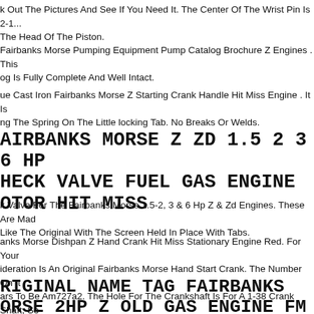k Out The Pictures And See If You Need It. The Center Of The Wrist Pin Is 2-1... The Head Of The Piston.
Fairbanks Morse Pumping Equipment Pump Catalog Brochure Z Engines . This og Is Fully Complete And Well Intact.
ue Cast Iron Fairbanks Morse Z Starting Crank Handle Hit Miss Engine . It Is ng The Spring On The Little locking Tab. No Breaks Or Welds.
FAIRBANKS MORSE Z ZD 1.5 2 3 6 HP CHECK VALVE FUEL GAS ENGINE MOTOR HIT MISS
k Valve For The Fairbanks Morse 1.5-2, 3 & 6 Hp Z & Zd Engines. These Are Mad Like The Original With The Screen Held In Place With Tabs.
anks Morse Dishpan Z Hand Crank Hit Miss Stationary Engine Red. For Your ideration Is An Original Fairbanks Morse Hand Start Crank. The Number On It ars To Be Am727a2. The Hole For The Crankshaft Is For A 1-38 Crank Shaft, So y This Is The Crank You Need Before Buying.
ORIGINAL NAME TAG FAIRBANKS MORSE 2HP Z OLD GAS ENGINE FM Y 2-1/4"